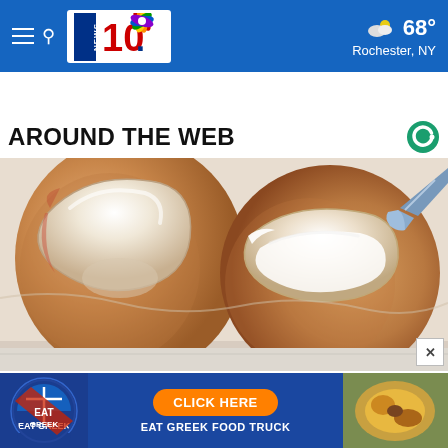NEWS 10 NBC | 68° Rochester, NY
AROUND THE WEB
[Figure (illustration): Illustration of toes/toenails showing a cream or treatment being applied with a tool to a toenail area]
[Figure (photo): Advertisement banner: Eat Greek food truck - Click Here button with blue circular logo on left and food photo on right]